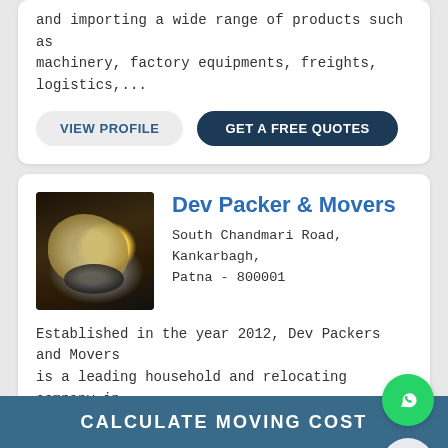and importing a wide range of products such as machinery, factory equipments, freights, logistics,...
VIEW PROFILE
GET A FREE QUOTES
Dev Packer & Movers
South Chandmari Road, Kankarbagh, Patna - 800001
Established in the year 2012, Dev Packers and Movers is a leading household and relocating company in Patna. The company is providing services like consignment tracking, doorstep transportation,...
VIEW PROFILE
GET A FREE QUOTES
CALCULATE MOVING COST